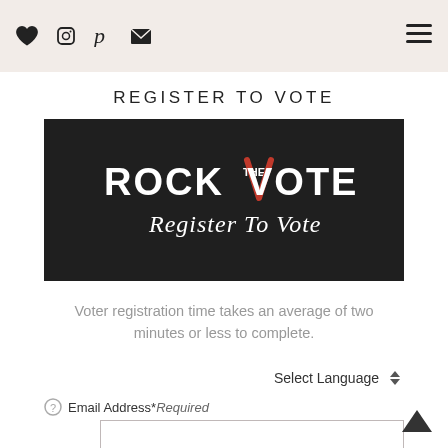♥ Instagram Pinterest Email [hamburger menu]
REGISTER TO VOTE
[Figure (logo): Rock the Vote logo on dark background with 'Register To Vote' tagline in script font]
Voter registration time takes an average of two minutes or less to complete.
Select Language
Email Address* Required